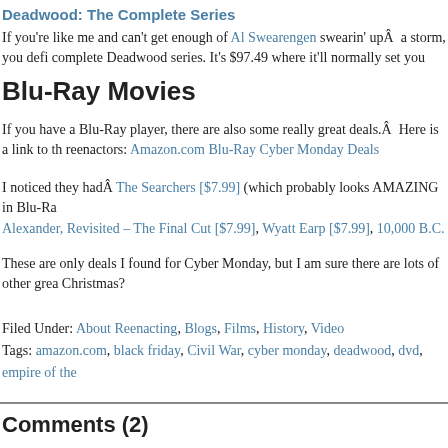Deadwood: The Complete Series
If you're like me and can't get enough of Al Swearengen swearin' upÂ a storm, you defi complete Deadwood series. It's $97.49 where it'll normally set you c**ks**kers back $1
Blu-Ray Movies
If you have a Blu-Ray player, there are also some really great deals.Â Here is a link to th reenactors: Amazon.com Blu-Ray Cyber Monday Deals
I noticed they hadÂ The Searchers [$7.99] (which probably looks AMAZING in Blu-Ra Alexander, Revisited – The Final Cut [$7.99], Wyatt Earp [$7.99], 10,000 B.C. [$14.99] How the West Was Won (Blu-ray Book) [$20.49], Lonesome Dove (2-Disc Collector's E
These are only deals I found for Cyber Monday, but I am sure there are lots of other grea Christmas?
Filed Under: About Reenacting, Blogs, Films, History, Video
Tags: amazon.com, black friday, Civil War, cyber monday, deadwood, dvd, empire of the west, WWII, WWII Movies
Comments (2)